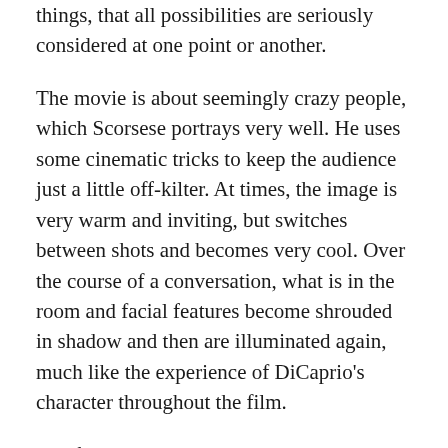things, that all possibilities are seriously considered at one point or another.
The movie is about seemingly crazy people, which Scorsese portrays very well. He uses some cinematic tricks to keep the audience just a little off-kilter. At times, the image is very warm and inviting, but switches between shots and becomes very cool. Over the course of a conversation, what is in the room and facial features become shrouded in shadow and then are illuminated again, much like the experience of DiCaprio's character throughout the film.
The film always keeps the audience confused. What is really reality is always in flux and there is never much more evidence than hearsay to back up any claim. Believing who or what for certain is impossible without just picking a side and refuting all else.
This is why this is such a good movie. The progress of